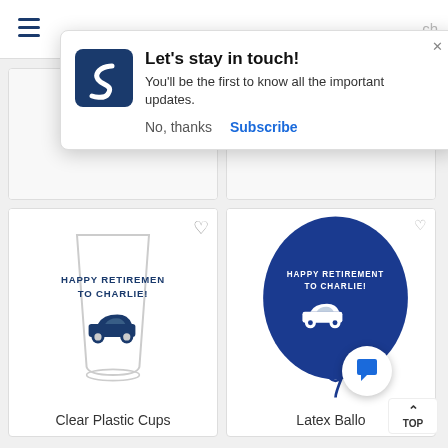[Figure (screenshot): Mobile website screenshot showing a notification popup overlay with 'Let's stay in touch!' message, a logo with stylized S, and product cards below showing retirement party items including Clear Plastic Cups with a car design and Latex Balloons in blue with the same car design and text 'Happy Retirement to Charlie!'. A chat button and TOP navigation button are also visible.]
Let's stay in touch!
You'll be the first to know all the important updates.
No, thanks
Subscribe
Clear Plastic Cups
Latex Ballo